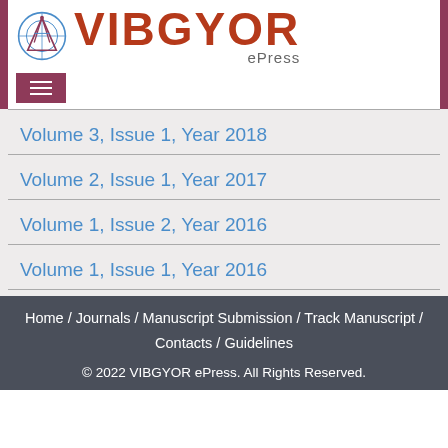[Figure (logo): VIBGYOR ePress logo with compass/ruler icon and red bold text]
Volume 3, Issue 1, Year 2018
Volume 2, Issue 1, Year 2017
Volume 1, Issue 2, Year 2016
Volume 1, Issue 1, Year 2016
Home / Journals / Manuscript Submission / Track Manuscript / Contacts / Guidelines
© 2022 VIBGYOR ePress. All Rights Reserved.